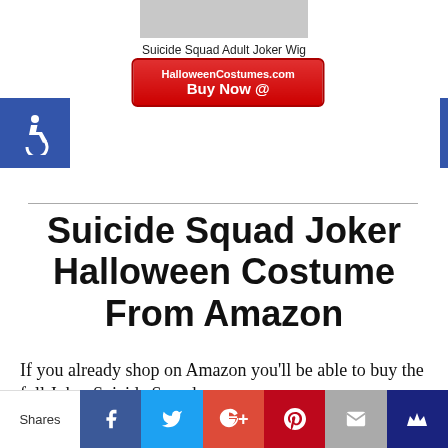[Figure (photo): Product image of Suicide Squad Adult Joker Wig (cropped at top)]
Suicide Squad Adult Joker Wig
[Figure (other): HalloweenCostumes.com Buy Now @ button in red]
[Figure (other): Blue accessibility (wheelchair) icon on left side]
Suicide Squad Joker Halloween Costume From Amazon
If you already shop on Amazon you'll be able to buy the full Joker Suicide Squad
This website uses cookies to improve your experience. We'll assume you're ok with this, but you can opt-out if you wish.
Shares